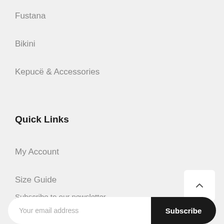Fustana
Bikini
Kepucë & Accessories
Quick Links
My Account
Size Guide
Subscribe to our newsletter
Your email address
Subscribe